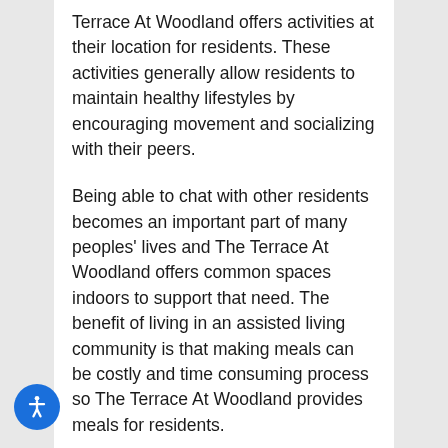Terrace At Woodland offers activities at their location for residents. These activities generally allow residents to maintain healthy lifestyles by encouraging movement and socializing with their peers.
Being able to chat with other residents becomes an important part of many peoples' lives and The Terrace At Woodland offers common spaces indoors to support that need. The benefit of living in an assisted living community is that making meals can be costly and time consuming process so The Terrace At Woodland provides meals for residents.
Staff is awake and available 24 hours a